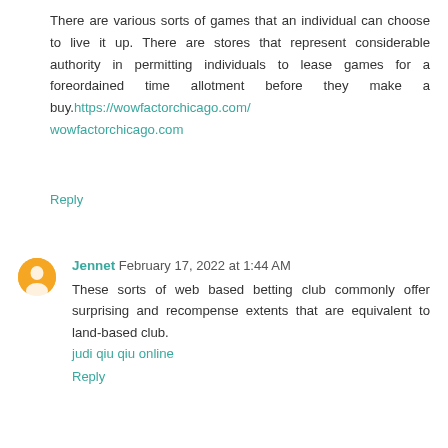There are various sorts of games that an individual can choose to live it up. There are stores that represent considerable authority in permitting individuals to lease games for a foreordained time allotment before they make a buy.https://wowfactorchicago.com/ wowfactorchicago.com
Reply
Jennet February 17, 2022 at 1:44 AM
These sorts of web based betting club commonly offer surprising and recompense extents that are equivalent to land-based club. judi qiu qiu online
Reply